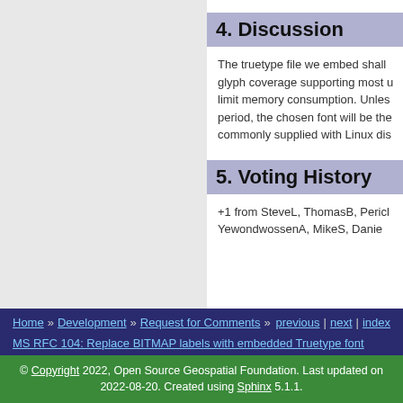4. Discussion
The truetype file we embed shall glyph coverage supporting most u limit memory consumption. Unless period, the chosen font will be the commonly supplied with Linux dis
5. Voting History
+1 from SteveL, ThomasB, Pericl YewondwossenA, MikeS, Danie
Home » Development » Request for Comments »   previous | next | index
MS RFC 104: Replace BITMAP labels with embedded Truetype font
© Copyright 2022, Open Source Geospatial Foundation. Last updated on 2022-08-20. Created using Sphinx 5.1.1.